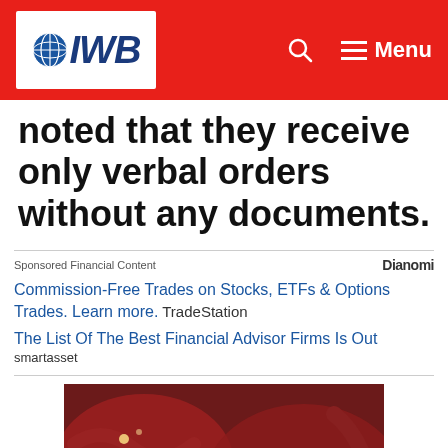IWB — Menu
noted that they receive only verbal orders without any documents.
Sponsored Financial Content · Dianomi
Commission-Free Trades on Stocks, ETFs & Options Trades. Learn more. TradeStation
The List Of The Best Financial Advisor Firms Is Out smartasset
[Figure (photo): Medical illustration of a pancreas surrounded by internal organs, reddish anatomical detail]
What They Didn't Want You Knowing About Metformin